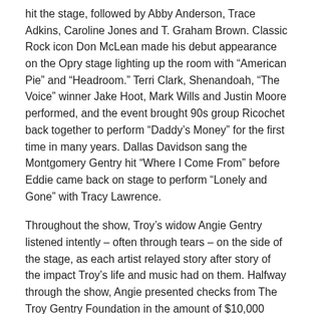hit the stage, followed by Abby Anderson, Trace Adkins, Caroline Jones and T. Graham Brown. Classic Rock icon Don McLean made his debut appearance on the Opry stage lighting up the room with “American Pie” and “Headroom.” Terri Clark, Shenandoah, “The Voice” winner Jake Hoot, Mark Wills and Justin Moore performed, and the event brought 90s group Ricochet back together to perform “Daddy’s Money” for the first time in many years. Dallas Davidson sang the Montgomery Gentry hit “Where I Come From” before Eddie came back on stage to perform “Lonely and Gone” with Tracy Lawrence.
Throughout the show, Troy’s widow Angie Gentry listened intently – often through tears – on the side of the stage, as each artist relayed story after story of the impact Troy’s life and music had on them. Halfway through the show, Angie presented checks from The Troy Gentry Foundation in the amount of $10,000 each to the concert’s beneficiaries The T.J. Martell Foundation, Make-A-Wish, The Journey Home Project, Vanderbilt Ingram Cancer Center and Staley’s Children’s Hospital.